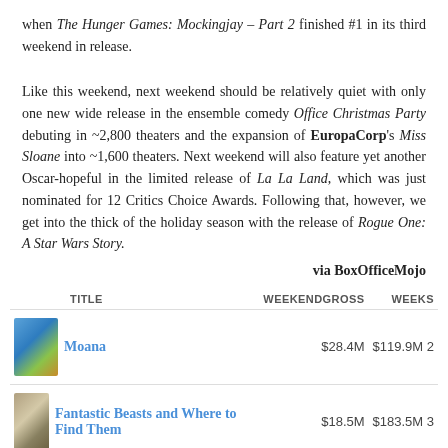when The Hunger Games: Mockingjay – Part 2 finished #1 in its third weekend in release.
Like this weekend, next weekend should be relatively quiet with only one new wide release in the ensemble comedy Office Christmas Party debuting in ~2,800 theaters and the expansion of EuropaCorp's Miss Sloane into ~1,600 theaters. Next weekend will also feature yet another Oscar-hopeful in the limited release of La La Land, which was just nominated for 12 Critics Choice Awards. Following that, however, we get into the thick of the holiday season with the release of Rogue One: A Star Wars Story.
via BoxOfficeMojo
| TITLE | WEEKENDGROSS | WEEKS |
| --- | --- | --- |
| Moana | $28.4M | $119.9M 2 |
| Fantastic Beasts and Where to Find Them | $18.5M | $183.5M 3 |